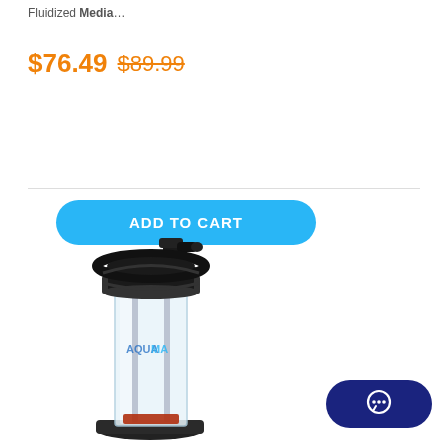Fluidized Media…
$76.49  $89.99
ADD TO CART
[Figure (photo): Aqua Marine fluidized media reactor with clear cylindrical tube body, black lid with inlet/outlet ports and clips, and black base. Transparent cylinder showing interior rods/tubes.]